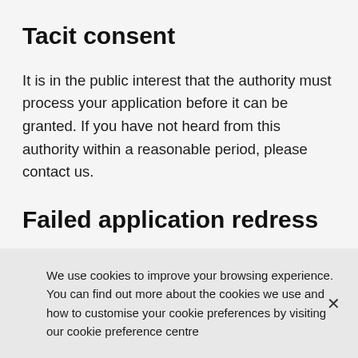Tacit consent
It is in the public interest that the authority must process your application before it can be granted. If you have not heard from this authority within a reasonable period, please contact us.
Failed application redress
Any applicant who is refused a licence, or
We use cookies to improve your browsing experience. You can find out more about the cookies we use and how to customise your cookie preferences by visiting our cookie preference centre